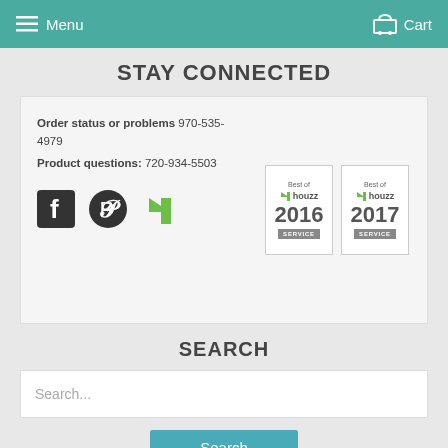Menu   Cart
STAY CONNECTED
Order status or problems 970-535-4979
Product questions: 720-934-5503
[Figure (logo): Facebook, Pinterest, and Houzz social icons]
[Figure (logo): Best of Houzz 2016 SERVICE badge]
[Figure (logo): Best of Houzz 2017 SERVICE badge]
SEARCH
Search...
Search